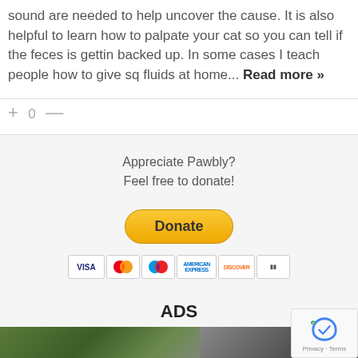sound are needed to help uncover the cause. It is also helpful to learn how to palpate your cat so you can tell if the feces is gettin backed up. In some cases I teach people how to give sq fluids at home... Read more »
+ 0 —
Appreciate Pawbly?
Feel free to donate!
[Figure (other): PayPal Donate button with payment card icons (Visa, Mastercard, Maestro, American Express, Discover, and another card)]
ADS
[Figure (photo): Photo strip showing two dogs outdoors]
[Figure (other): reCAPTCHA widget with Privacy and Terms links]